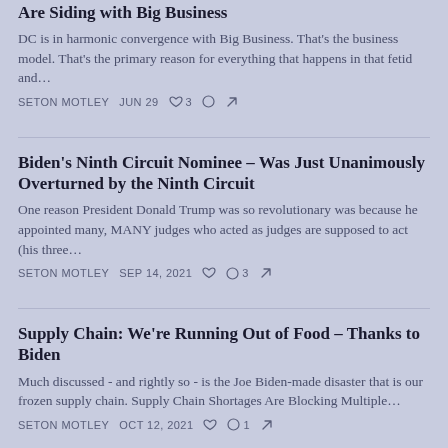Are Siding with Big Business
DC is in harmonic convergence with Big Business. That's the business model. That's the primary reason for everything that happens in that fetid and…
SETON MOTLEY   JUN 29   ♡ 3   ○   ↗
Biden's Ninth Circuit Nominee – Was Just Unanimously Overturned by the Ninth Circuit
One reason President Donald Trump was so revolutionary was because he appointed many, MANY judges who acted as judges are supposed to act (his three…
SETON MOTLEY   SEP 14, 2021   ♡   ○ 3   ↗
Supply Chain: We're Running Out of Food – Thanks to Biden
Much discussed - and rightly so - is the Joe Biden-made disaster that is our frozen supply chain. Supply Chain Shortages Are Blocking Multiple…
SETON MOTLEY   OCT 12, 2021   ♡   ○ 1   ↗